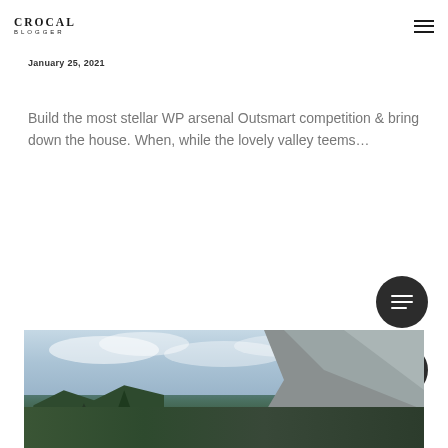CROCAL BLOGGER
January 25, 2021
Build the most stellar WP arsenal Outsmart competition & bring down the house. When, while the lovely valley teems…
[Figure (photo): Mountain valley landscape with rocky cliffs and forested foreground under a cloudy sky]
[Figure (other): Floating dark circular button with menu/list icon]
[Figure (other): Floating dark circular button with upward arrow icon]